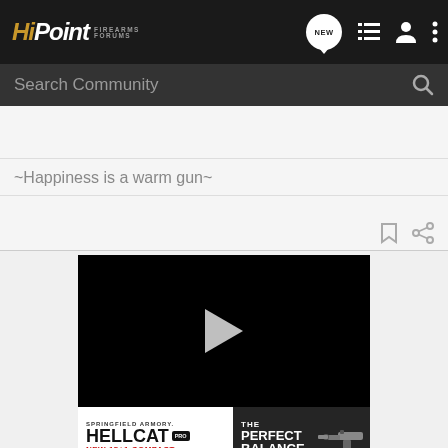HiPoint Firearms Forums
Search Community
~Happiness is a warm gun~
[Figure (screenshot): Black video player with white play button triangle]
[Figure (photo): Springfield Armory Hellcat Pro advertisement banner - NEW 15+1 COMPACT - THE PERFECT BALANCE with gun image]